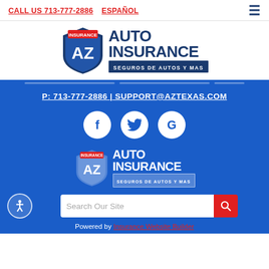CALL US 713-777-2886 | ESPAÑOL
[Figure (logo): AZ Auto Insurance logo with shield icon and text AUTO INSURANCE SEGUROS DE AUTOS Y MAS]
P: 713-777-2886 | SUPPORT@AZTEXAS.COM
[Figure (infographic): Social media icons: Facebook, Twitter, Google]
[Figure (logo): AZ Auto Insurance logo (white version) with shield icon and text AUTO INSURANCE SEGUROS DE AUTOS Y MAS]
Search Our Site
Powered by Insurance Website Builder